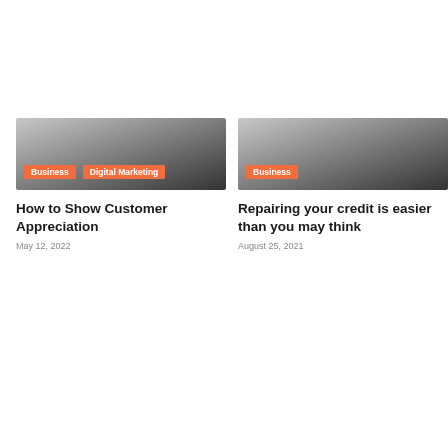[Figure (illustration): Card image with gradient background, tags: Business, Digital Marketing]
How to Show Customer Appreciation
May 12, 2022
[Figure (illustration): Card image with gradient background, tag: Business]
Repairing your credit is easier than you may think
August 25, 2021